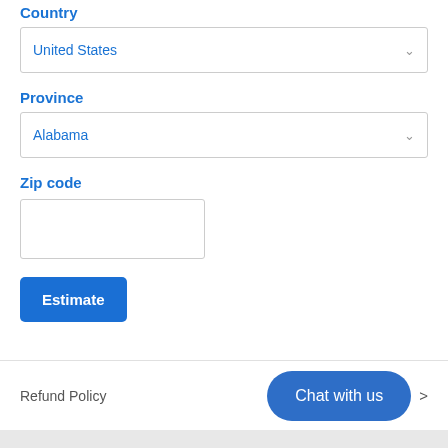Country
United States
Province
Alabama
Zip code
Estimate
Refund Policy
Chat with us